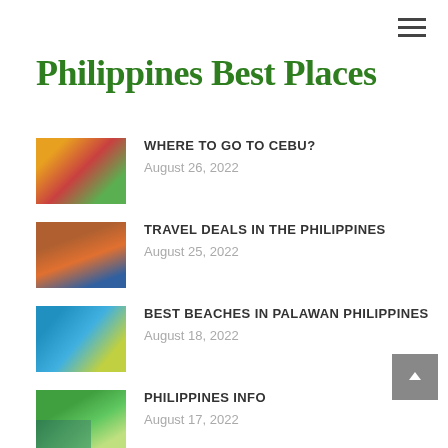☰
Philippines Best Places
WHERE TO GO TO CEBU? — August 26, 2022
TRAVEL DEALS IN THE PHILIPPINES — August 25, 2022
BEST BEACHES IN PALAWAN PHILIPPINES — August 18, 2022
PHILIPPINES INFO — August 17, 2022